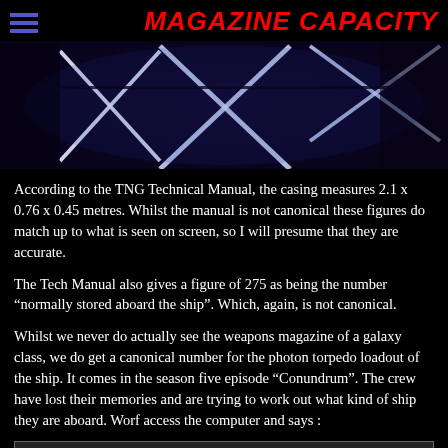MAGAZINE CAPACITY
[Figure (photo): Dark sci-fi image showing angular glowing white lines forming X-shapes on a dark surface, resembling a starship or futuristic corridor element with blue lighting.]
According to the TNG Technical Manual, the casing measures 2.1 x 0.76 x 0.45 metres. Whilst the manual is not canonical these figures do match up to what is seen on screen, so I will presume that they are accurate.
The Tech Manual also gives a figure of 275 as being the number “normally stored aboard the ship”. Which, again, is not canonical.
Whilst we never do actually see the weapons magazine of a galaxy class, we do get a canonical number for the photon torpedo loadout of the ship. It comes in the season five episode “Conundrum”. The crew have lost their memories and are trying to work out what kind of ship they are aboard. Worf access the computer and says :
| Speaker | Dialogue |
| --- | --- |
| Worf : | "I have completed a survey of our tactical systems. We are equipped with ten phaser banks, two hundred and fifty photon torpedoes, and a high capacity shield grid." |